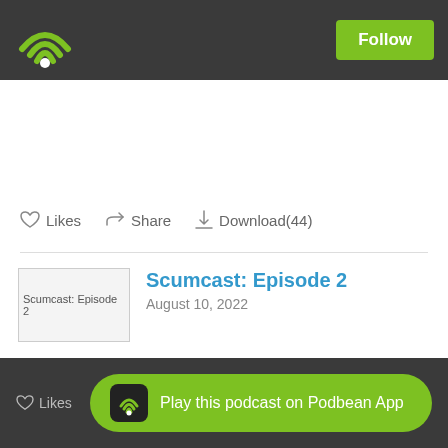Podbean app header with WiFi logo and Follow button
Likes   Share   Download(44)
Scumcast: Episode 2
August 10, 2022
Listen to your least favorite wifflers talk MAW SI, Uwiff team previews, and other random nonsense.
Play this podcast on Podbean App